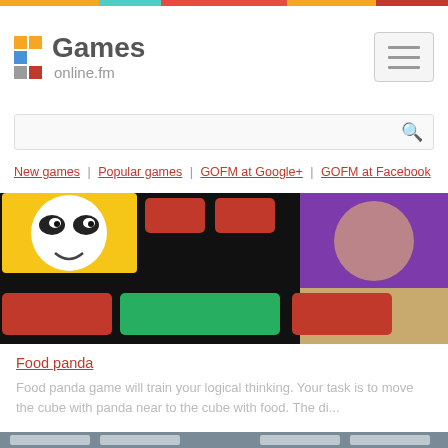Games online.fm
New games | Popular games | GOFM at Google+ | GOFM at Facebook
[Figure (screenshot): Food panda game screenshot showing colorful cubes with a panda face, red, green blocks on a yellow/tan background and purple panel]
Food panda
Food panda game will train your logical thinking. Your task is to move the cube with panda near to the cube with food. The di...
[Figure (screenshot): Bottom preview image showing an indoor room ceiling with rectangular light panels on a gray ceiling]